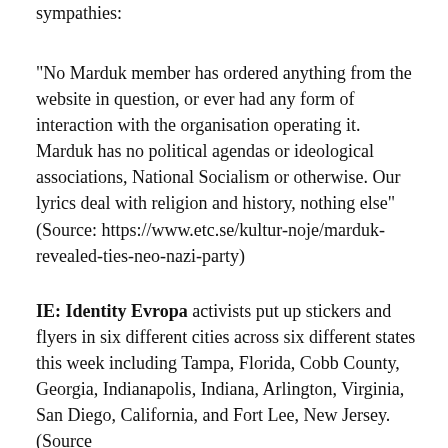sympathies:
“No Marduk member has ordered anything from the website in question, or ever had any form of interaction with the organisation operating it. Marduk has no political agendas or ideological associations, National Socialism or otherwise. Our lyrics deal with religion and history, nothing else” (Source: https://www.etc.se/kultur-noje/marduk-revealed-ties-neo-nazi-party)
IE: Identity Evropa activists put up stickers and flyers in six different cities across six different states this week including Tampa, Florida, Cobb County, Georgia, Indianapolis, Indiana, Arlington, Virginia, San Diego, California, and Fort Lee, New Jersey. (Source